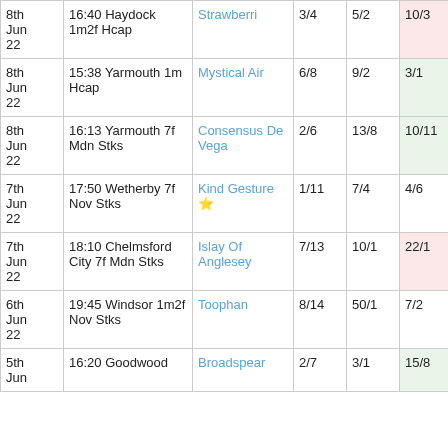| Date | Race | Horse | Odds1 | Odds2 | Odds3 | Val |
| --- | --- | --- | --- | --- | --- | --- |
| 8th Jun 22 | 16:40 Haydock 1m2f Hcap | Strawberri | 3/4 | 5/2 | 10/3 | 3.39 |
| 8th Jun 22 | 15:38 Yarmouth 1m Hcap | Mystical Air | 6/8 | 9/2 | 3/1 | 7.78 |
| 8th Jun 22 | 16:13 Yarmouth 7f Mdn Stks | Consensus De Vega | 2/6 | 13/8 | 10/11 | 2.82 |
| 7th Jun 22 | 17:50 Wetherby 7f Nov Stks | Kind Gesture ⭐ | 1/11 | 7/4 | 4/6 | 2.17 |
| 7th Jun 22 | 18:10 Chelmsford City 7f Mdn Stks | Islay Of Anglesey | 7/13 | 10/1 | 22/1 | 15.62 |
| 6th Jun 22 | 19:45 Windsor 1m2f Nov Stks | Toophan | 8/14 | 50/1 | 7/2 | 9.74 |
| 5th Jun | 16:20 Goodwood | Broadspear | 2/7 | 3/1 | 15/8 | 2.89 |